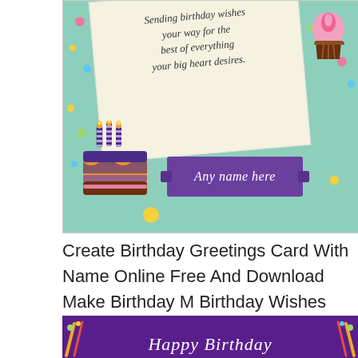[Figure (illustration): A birthday greeting card illustration on a mint green background. The card shows a tilted cream/ivory paper with italic text reading 'Sending birthday wishes your way for the best of everything your big heart desires.' A birthday cake with candles is on the left, a purple banner saying 'Any name here' is in the center-right, and a cupcake is in the top right corner. Colorful confetti dots are scattered around.]
Create Birthday Greetings Card With Name Online Free And Download Make Birthday M Birthday Wishes With Name Happy Birthday Wishes Cards Happy Birthday Writing
[Figure (illustration): Bottom portion of a birthday card with dark purple background showing cursive white text 'Happy Birthday' with colorful streamers on the sides.]